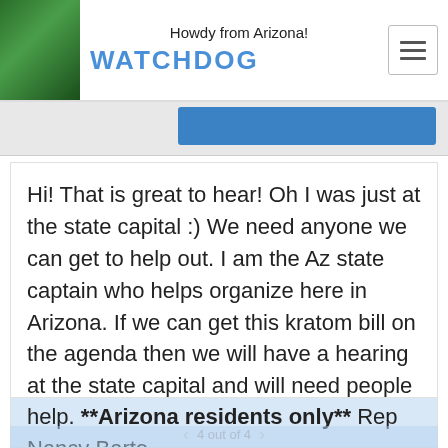Howdy from Arizona! WATCHDOG
Hi! That is great to hear! Oh I was just at the state capital :) We need anyone we can get to help out. I am the Az state captain who helps organize here in Arizona. If we can get this kratom bill on the agenda then we will have a hearing at the state capital and will need people to show and testify. I will let you know more asap. Feel free to contact me anytime. Right now we are having a problem with Rep. Barto to get her to add our bill to the Health Committee agenda. We are doing our best. Any help anyone can provide by calling her ASAP would help. **Arizona residents only** Rep Nancy Barto 480-512-3750 "Hi My name is xXxX I am an